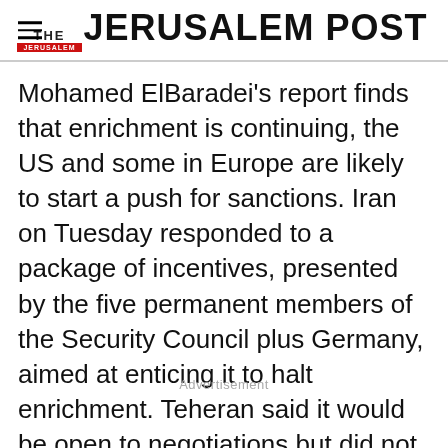THE JERUSALEM POST
Mohamed ElBaradei's report finds that enrichment is continuing, the US and some in Europe are likely to start a push for sanctions. Iran on Tuesday responded to a package of incentives, presented by the five permanent members of the Security Council plus Germany, aimed at enticing it to halt enrichment. Teheran said it would be open to negotiations but did not agree to the West's key demand for an enrichment suspension as a precondition to
Advertisement